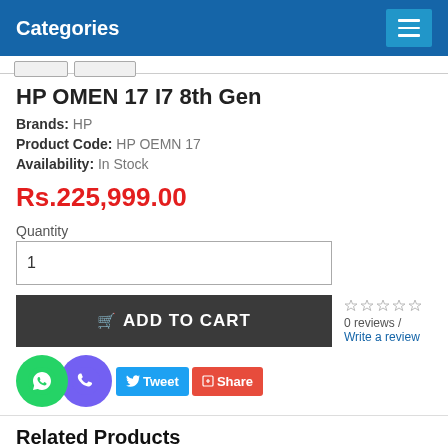Categories
HP OMEN 17 I7 8th Gen
Brands: HP
Product Code: HP OEMN 17
Availability: In Stock
Rs.225,999.00
Quantity
1
ADD TO CART
0 reviews / Write a review
Tweet Share
Related Products